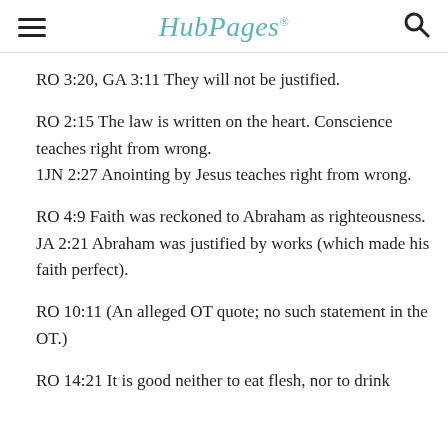HubPages
RO 3:20, GA 3:11 They will not be justified.
RO 2:15 The law is written on the heart. Conscience teaches right from wrong.
1JN 2:27 Anointing by Jesus teaches right from wrong.
RO 4:9 Faith was reckoned to Abraham as righteousness.
JA 2:21 Abraham was justified by works (which made his faith perfect).
RO 10:11 (An alleged OT quote; no such statement in the OT.)
RO 14:21 It is good neither to eat flesh, nor to drink